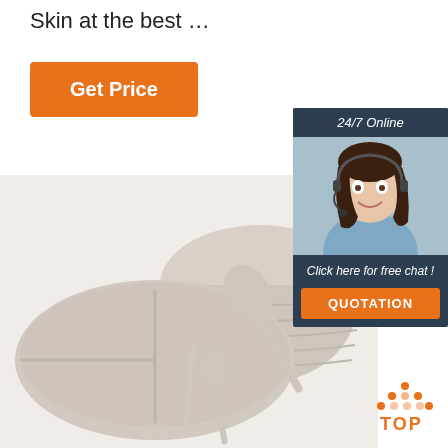Skin at the best …
Get Price
[Figure (photo): Silicone baby dish set including divided plate, bowl, and spoons in beige/taupe color on white background]
[Figure (infographic): 24/7 Online chat widget with customer service representative photo, 'Click here for free chat!' text, and QUOTATION button]
[Figure (logo): TOP badge logo with orange dots pattern]